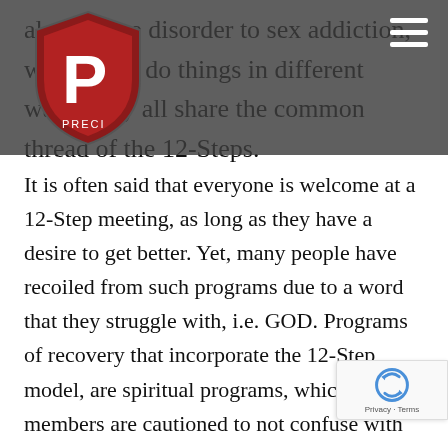alcohol use disorder to sex addiction, which may do things in different ways, they all share the common thread of the 12-Steps.
It is often said that everyone is welcome at a 12-Step meeting, as long as they have a desire to get better. Yet, many people have recoiled from such programs due to a word that they struggle with, i.e. GOD. Programs of recovery that incorporate the 12-Step model, are spiritual programs, which members are cautioned to not confuse with religious. Organizations like AA and Narcotics Anonymous (NA), pride themselves with not being associated with any religious sect. While many of their members may choose Jesus or GOD in the biblical sense of the words